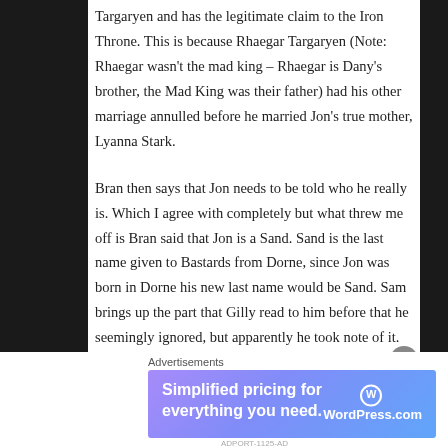Targaryen and has the legitimate claim to the Iron Throne. This is because Rhaegar Targaryen (Note: Rhaegar wasn't the mad king – Rhaegar is Dany's brother, the Mad King was their father) had his other marriage annulled before he married Jon's true mother, Lyanna Stark.
Bran then says that Jon needs to be told who he really is. Which I agree with completely but what threw me off is Bran said that Jon is a Sand. Sand is the last name given to Bastards from Dorne, since Jon was born in Dorne his new last name would be Sand. Sam brings up the part that Gilly read to him before that he seemingly ignored, but apparently he took note of it. He tells Bran that about how Rhaegar had his original marriage annulled; it was
Advertisements
[Figure (other): WordPress.com advertisement banner: 'Simplified pricing for everything you need.' with WordPress.com logo on gradient purple-blue background.]